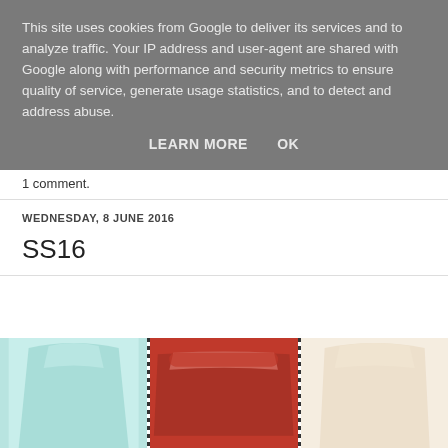This site uses cookies from Google to deliver its services and to analyze traffic. Your IP address and user-agent are shared with Google along with performance and security metrics to ensure quality of service, generate usage statistics, and to detect and address abuse.
LEARN MORE   OK
1 comment.
WEDNESDAY, 8 JUNE 2016
SS16
[Figure (photo): Three off-shoulder tops/shorts: light blue, red/burgundy, and cream colored garments displayed side by side separated by dotted vertical lines]